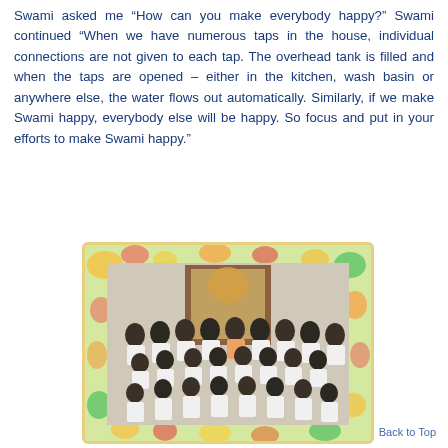Swami asked me “How can you make everybody happy?” Swami continued “When we have numerous taps in the house, individual connections are not given to each tap. The overhead tank is filled and when the taps are opened – either in the kitchen, wash basin or anywhere else, the water flows out automatically. Similarly, if we make Swami happy, everybody else will be happy. So focus and put in your efforts to make Swami happy.”
[Figure (photo): Group photo of students (mostly in white clothing) with a teacher/swami (in orange/saffron robe) seated in the center, posed in front of a decorated doorway or shrine, with a floral decorative border around the photograph.]
Back to Top